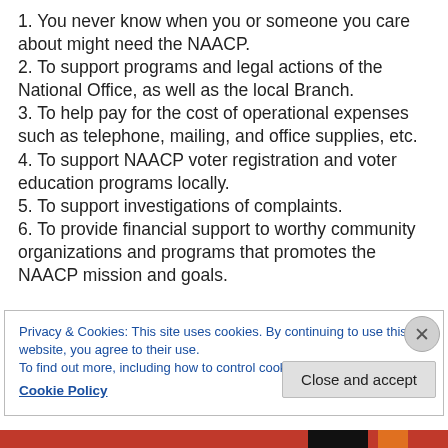1. You never know when you or someone you care about might need the NAACP.
2. To support programs and legal actions of the National Office, as well as the local Branch.
3. To help pay for the cost of operational expenses such as telephone, mailing, and office supplies, etc.
4. To support NAACP voter registration and voter education programs locally.
5. To support investigations of complaints.
6. To provide financial support to worthy community organizations and programs that promotes the NAACP mission and goals.
Privacy & Cookies: This site uses cookies. By continuing to use this website, you agree to their use.
To find out more, including how to control cookies, see here:
Cookie Policy
Close and accept